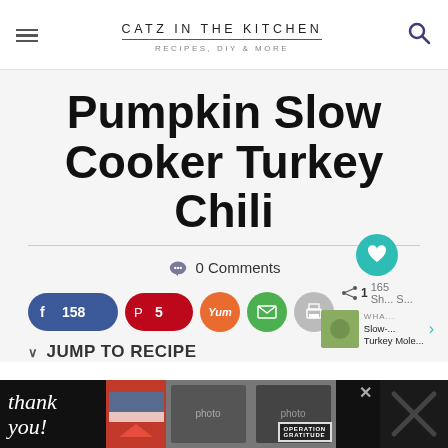CATZ IN THE KITCHEN — RECIPES, DIY & MORE
Pumpkin Slow Cooker Turkey Chili
0 Comments
[Figure (other): Social share buttons: Facebook (158), Pinterest (5), Yummly, Email, Print; heart/save button (teal); share count 165; related post thumbnail for Slow Cooker Turkey Mole]
JUMP TO RECIPE
[Figure (other): Advertisement banner: Thank you Operation Gratitude military appreciation ad]